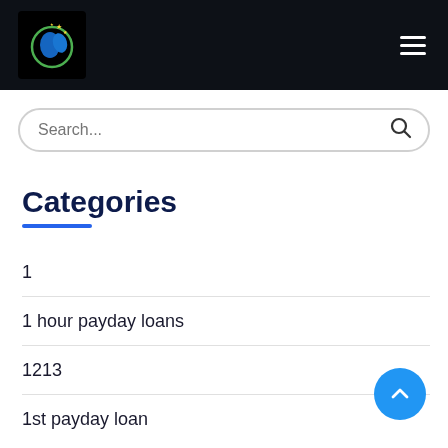[Figure (logo): Circular logo with blue bird/figure and green ring with yellow stars on black background]
Search...
Categories
1
1 hour payday loans
1213
1st payday loan